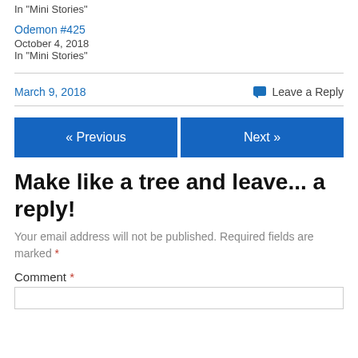In "Mini Stories"
Odemon #425
October 4, 2018
In "Mini Stories"
March 9, 2018
Leave a Reply
« Previous
Next »
Make like a tree and leave... a reply!
Your email address will not be published. Required fields are marked *
Comment *